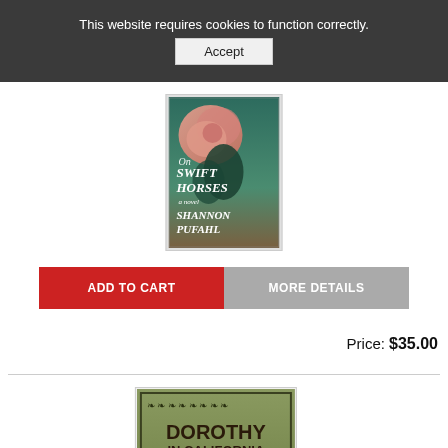This website requires cookies to function correctly.
Accept
[Figure (photo): Book cover of 'On Swift Horses' by Shannon Pufahl — showing pink roses and teal background with stylized text]
ADD TO CART
MORE DETAILS
Price: $35.00
[Figure (photo): Book cover of 'Dorothy in California' — olive green cover with black floral decorations and bold red/black text]